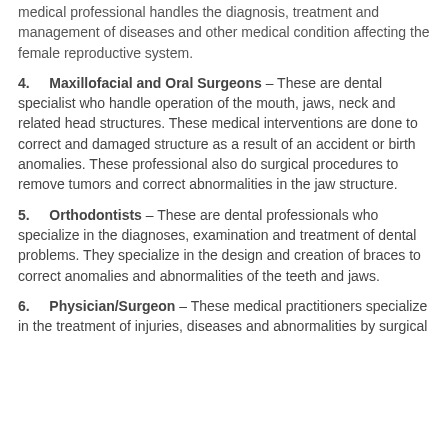medical professional handles the diagnosis, treatment and management of diseases and other medical condition affecting the female reproductive system.
4. Maxillofacial and Oral Surgeons – These are dental specialist who handle operation of the mouth, jaws, neck and related head structures. These medical interventions are done to correct and damaged structure as a result of an accident or birth anomalies. These professional also do surgical procedures to remove tumors and correct abnormalities in the jaw structure.
5. Orthodontists – These are dental professionals who specialize in the diagnoses, examination and treatment of dental problems. They specialize in the design and creation of braces to correct anomalies and abnormalities of the teeth and jaws.
6. Physician/Surgeon – These medical practitioners specialize in the treatment of injuries, diseases and abnormalities by surgical